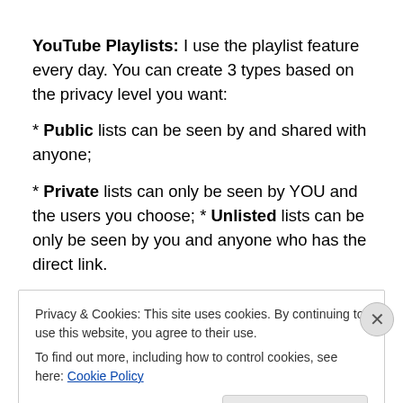YouTube Playlists: I use the playlist feature every day. You can create 3 types based on the privacy level you want:
* Public lists can be seen by and shared with anyone;
* Private lists can only be seen by YOU and the users you choose; * Unlisted lists can be only be seen by you and anyone who has the direct link.
Here is a list of some examples of musical studios playlists
Privacy & Cookies: This site uses cookies. By continuing to use this website, you agree to their use.
To find out more, including how to control cookies, see here: Cookie Policy
Close and accept